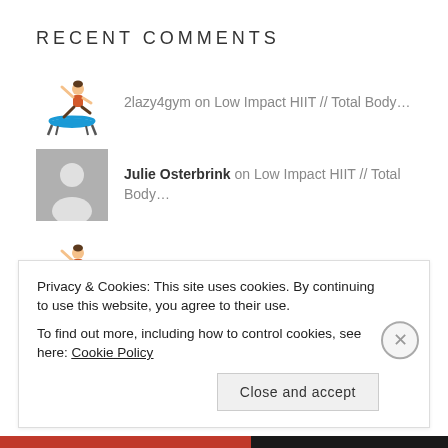RECENT COMMENTS
2lazy4gym on Low Impact HIIT // Total Body...
Julie Osterbrink on Low Impact HIIT // Total Body...
2lazy4gym on Power Hour // Strength & C...
Julie Osterbrink on Power Hour // Strength & C...
Privacy & Cookies: This site uses cookies. By continuing to use this website, you agree to their use.
To find out more, including how to control cookies, see here: Cookie Policy
Close and accept